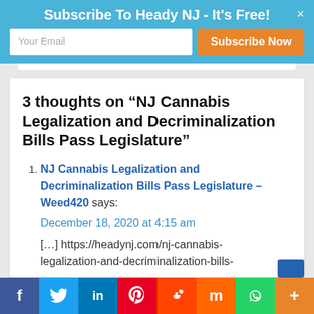Subscribe To Heady NJ - It's Free!
3 thoughts on “NJ Cannabis Legalization and Decriminalization Bills Pass Legislature”
NJ Cannabis Legalization and Decriminalization Bills Pass Legislature - Weed420 says:
December 18, 2020 at 4:15 am
[...] https://headynj.com/nj-cannabis-legalization-and-decriminalization-bills-
f  t  in  P  reddit  m  WhatsApp  +